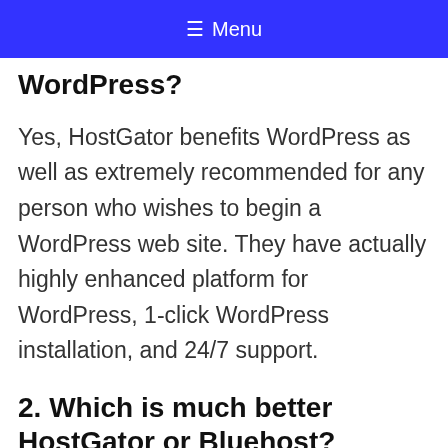≡ Menu
WordPress?
Yes, HostGator benefits WordPress as well as extremely recommended for any person who wishes to begin a WordPress web site. They have actually highly enhanced platform for WordPress, 1-click WordPress installation, and 24/7 support.
2. Which is much better HostGator or Bluehost?